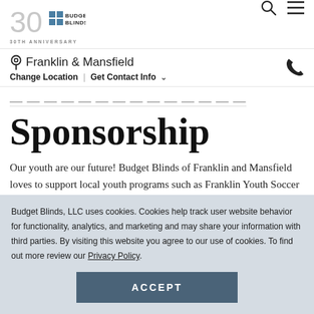Budget Blinds 30th Anniversary – Franklin & Mansfield
Sponsorship
Our youth are our future!  Budget Blinds of Franklin and Mansfield loves to support local youth programs such as Franklin Youth Soccer Association, Walpole Little
Budget Blinds, LLC uses cookies. Cookies help track user website behavior for functionality, analytics, and marketing and may share your information with third parties. By visiting this website you agree to our use of cookies. To find out more review our Privacy Policy.
ACCEPT